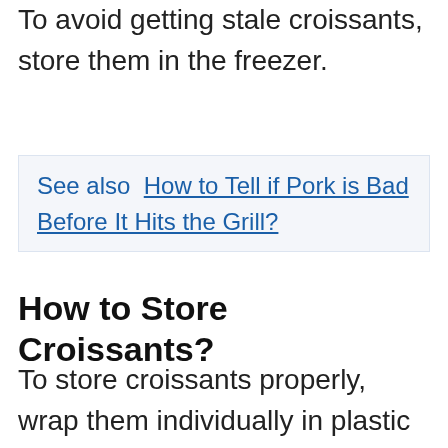not go bad. But they do get stale quickly. To avoid getting stale croissants, store them in the freezer.
See also  How to Tell if Pork is Bad Before It Hits the Grill?
How to Store Croissants?
To store croissants properly, wrap them individually in plastic wrap and place